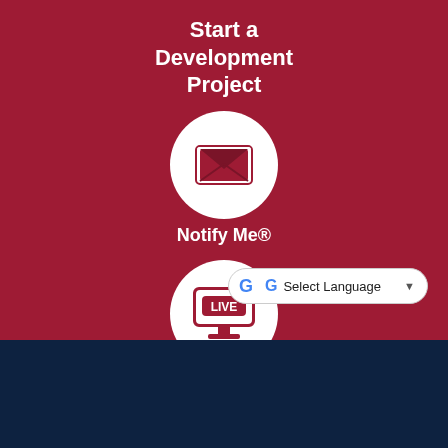Start a Development Project
[Figure (infographic): White circle button with envelope/mail icon representing Notify Me notification signup]
Notify Me®
[Figure (infographic): White circle button with LIVE TV screen icon representing Watch Live Meetings]
Watch Live Meetings
[Figure (infographic): Google Translate widget with G logo and Select Language dropdown]
Contact